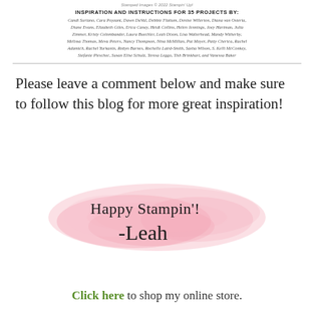Stamped Images © 2022 Stampin' Up!
INSPIRATION AND INSTRUCTIONS FOR 35 PROJECTS BY:
Candi Suriano, Cara Poyzant, Dawn DuVal, Debbie Flattum, Denise Willerton, Diana van Osteria, Diane Evans, Elizabeth Giles, Erica Caney, Heidi Collins, Helen Jennings, Joey Hartman, Julia Zimmer, Kristy Colombander, Laura Buechler, Leah Dixon, Lisa Walterhead, Mandy Witherby, Melissa Thomas, Meva Peters, Nancy Thompson, Nina McMillan, Pat Moyer, Patty Cherica, Rachel Adamich, Rachel Yurkanin, Robyn Barnes, Rochelle Laird-Smith, Sasha Wilson, S. Kelli McConkey, Stefanie Pleschec, Susan Elise Schulz, Teresa Leggo, Tish Brinkhart, and Vanessa Baker
Please leave a comment below and make sure to follow this blog for more great inspiration!
[Figure (illustration): Pink watercolor blob background with handwritten-style script text reading 'Happy Stampin'! -Leah']
Click here to shop my online store.